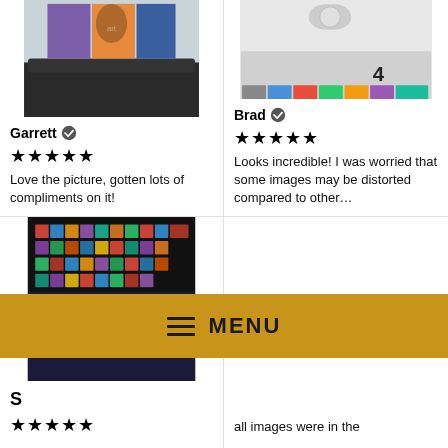[Figure (photo): Room interior with dark sofa and large multi-panel wall art showing a woman against a colorful sky]
Garrett ✔
★★★★★
Love the picture, gotten lots of compliments on it!
[Figure (photo): Wall display with many album covers and record posters arranged on a shelf, number 4 visible]
Brad ✔
★★★★★
Looks incredible! I was worried that some images may be distorted compared to other…
[Figure (photo): Dark room with colorful wall of movie/music poster tiles lit from below]
S…
★★★★★
all images were in the
≡  MENU